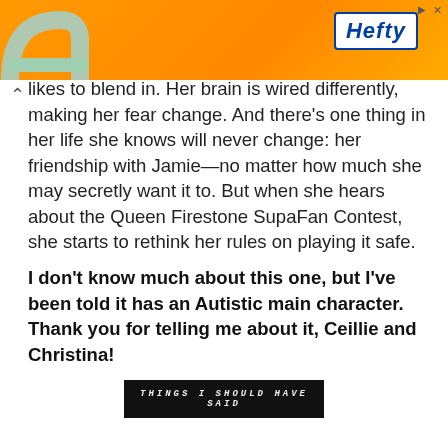[Figure (other): Orange Hefty advertisement banner with logo and graphic elements, close button and arrow at top right]
likes to blend in. Her brain is wired differently, making her fear change. And there's one thing in her life she knows will never change: her friendship with Jamie—no matter how much she may secretly want it to. But when she hears about the Queen Firestone SupaFan Contest, she starts to rethink her rules on playing it safe.
I don't know much about this one, but I've been told it has an Autistic main character. Thank you for telling me about it, Ceillie and Christina!
[Figure (other): Black banner image with italic bold text reading 'THINGS I SHOULD HAVE SAID']